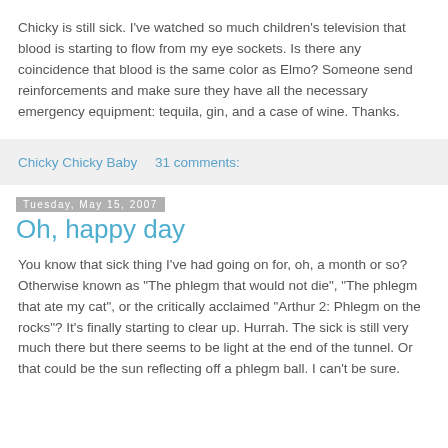Chicky is still sick. I've watched so much children's television that blood is starting to flow from my eye sockets. Is there any coincidence that blood is the same color as Elmo? Someone send reinforcements and make sure they have all the necessary emergency equipment: tequila, gin, and a case of wine. Thanks.
Chicky Chicky Baby    31 comments:
Tuesday, May 15, 2007
Oh, happy day
You know that sick thing I've had going on for, oh, a month or so? Otherwise known as "The phlegm that would not die", "The phlegm that ate my cat", or the critically acclaimed "Arthur 2: Phlegm on the rocks"? It's finally starting to clear up. Hurrah. The sick is still very much there but there seems to be light at the end of the tunnel. Or that could be the sun reflecting off a phlegm ball. I can't be sure.